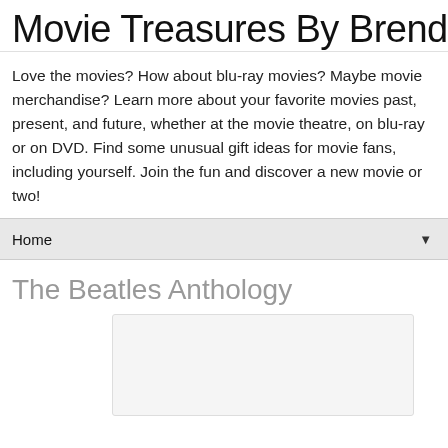Movie Treasures By Brenda
Love the movies? How about blu-ray movies? Maybe movie merchandise? Learn more about your favorite movies past, present, and future, whether at the movie theatre, on blu-ray or on DVD. Find some unusual gift ideas for movie fans, including yourself. Join the fun and discover a new movie or two!
Home
The Beatles Anthology
[Figure (other): Blank image placeholder for Beatles Anthology content]